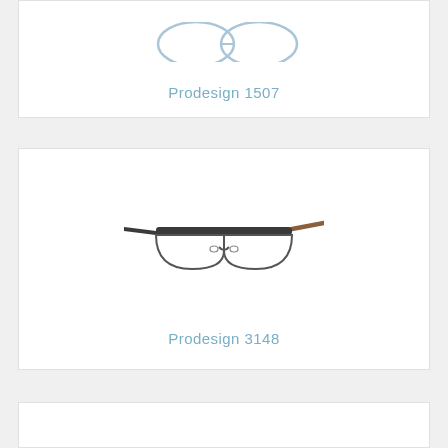[Figure (photo): Prodesign 1507 eyeglasses frame shown from front angle, partially cropped at top]
Prodesign 1507
[Figure (photo): Prodesign 3148 eyeglasses frame shown from slight angle, dark metal browline style with wood-look temples]
Prodesign 3148
[Figure (photo): Partial view of a third product card, cropped at bottom of page]